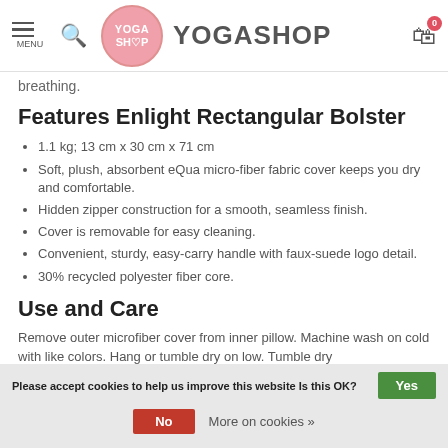YOGASHOP
breathing.
Features Enlight Rectangular Bolster
1.1 kg; 13 cm x 30 cm x 71 cm
Soft, plush, absorbent eQua micro-fiber fabric cover keeps you dry and comfortable.
Hidden zipper construction for a smooth, seamless finish.
Cover is removable for easy cleaning.
Convenient, sturdy, easy-carry handle with faux-suede logo detail.
30% recycled polyester fiber core.
Use and Care
Remove outer microfiber cover from inner pillow. Machine wash on cold with like colors. Hang or tumble dry on low. Tumble dry
Please accept cookies to help us improve this website Is this OK? Yes | No More on cookies »